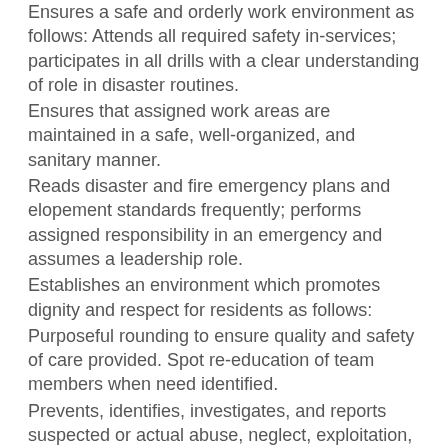Ensures a safe and orderly work environment as follows: Attends all required safety in-services; participates in all drills with a clear understanding of role in disaster routines.
Ensures that assigned work areas are maintained in a safe, well-organized, and sanitary manner.
Reads disaster and fire emergency plans and elopement standards frequently; performs assigned responsibility in an emergency and assumes a leadership role.
Establishes an environment which promotes dignity and respect for residents as follows:
Purposeful rounding to ensure quality and safety of care provided. Spot re-education of team members when need identified.
Prevents, identifies, investigates, and reports suspected or actual abuse, neglect, exploitation, and improper use of chemical and physical restraints, in accordance with Agency standards
Knows and respects all residents' rights while maintaining the confidentiality of all resident care information.